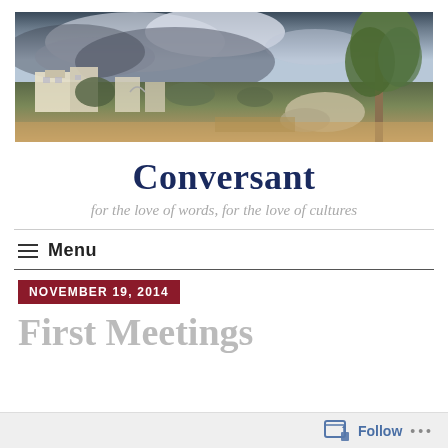[Figure (photo): Landscape photo of Middle Eastern or Mediterranean village with white buildings, cloudy dramatic sky, and a large tree on the right side]
Conversant
for the love of words, for the love of cultures
Menu
NOVEMBER 19, 2014
First Meetings
Follow ...